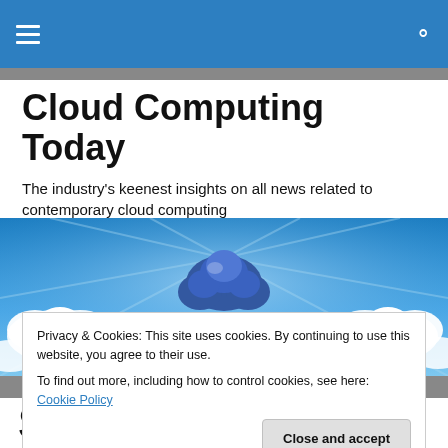Cloud Computing Today — navigation bar with hamburger menu and search icon
Cloud Computing Today
The industry's keenest insights on all news related to contemporary cloud computing
[Figure (illustration): Cloud Computing Today banner image: blue sky with clouds and the Cloud Computing Today logo (cloud icon with text 'CLOUD COMPUTING TODAY')]
Privacy & Cookies: This site uses cookies. By continuing to use this website, you agree to their use.
To find out more, including how to control cookies, see here: Cookie Policy
[Close and accept]
Series C Funding